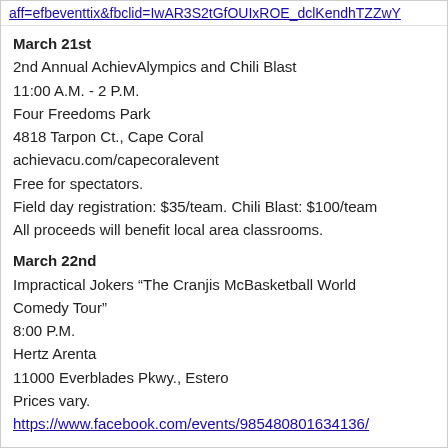aff=efbeventtix&fbclid=IwAR3S2tGfOUIxROE_dclKendhTZZwY
March 21st
2nd Annual AchievAlympics and Chili Blast
11:00 A.M. - 2 P.M.
Four Freedoms Park
4818 Tarpon Ct., Cape Coral
achievacu.com/capecoralevent
Free for spectators.
Field day registration: $35/team. Chili Blast: $100/team
All proceeds will benefit local area classrooms.
March 22nd
Impractical Jokers “The Cranjis McBasketball World Comedy Tour”
8:00 P.M.
Hertz Arenta
11000 Everblades Pkwy., Estero
Prices vary.
https://www.facebook.com/events/985480801634136/